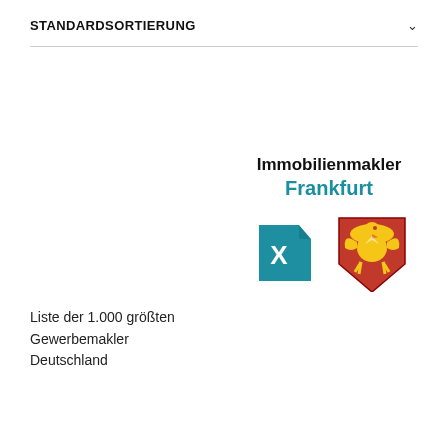STANDARDSORTIERUNG
[Figure (logo): Immobilienmakler Frankfurt logo with Excel-style teal icon and Frankfurt coat of arms]
Liste der 1.000 größten Gewerbemakler Deutschland